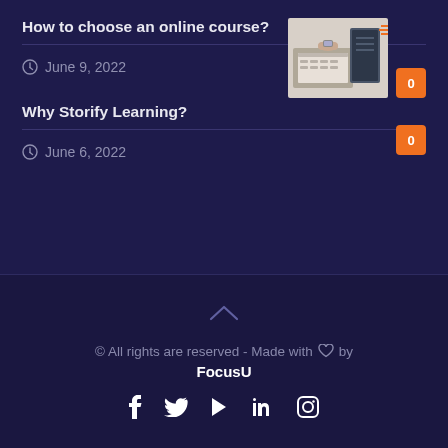How to choose an online course?
June 9, 2022
[Figure (photo): Person typing on laptop with accessories on desk]
Why Storify Learning?
June 6, 2022
© All rights are reserved - Made with ♡ by FocusU